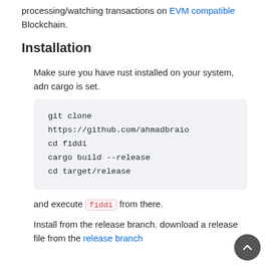processing/watching transactions on EVM compatible Blockchain.
Installation
Make sure you have rust installed on your system, adn cargo is set.
git clone https://github.com/ahmadbraio
cd fiddi
cargo build --release
cd target/release
and execute fiddi from there.
Install from the release branch. download a release file from the release branch